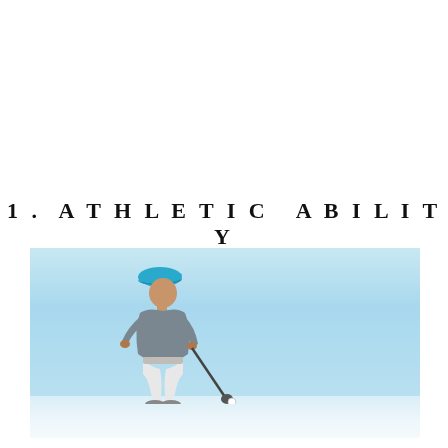1. ATHLETIC ABILITY
[Figure (photo): A golfer wearing a blue cap and grey shirt swinging a golf club, photographed against a clear light blue sky with a reflective ground surface below.]